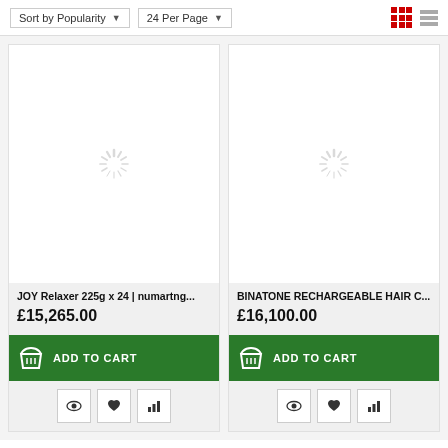Sort by Popularity | 24 Per Page
[Figure (screenshot): Product card: JOY Relaxer 225g x 24 | numartng... with loading spinner image, price £15,265.00, Add to Cart button, and action icons (view, wishlist, compare)]
[Figure (screenshot): Product card: BINATONE RECHARGEABLE HAIR C... with loading spinner image, price £16,100.00, Add to Cart button, and action icons (view, wishlist, compare)]